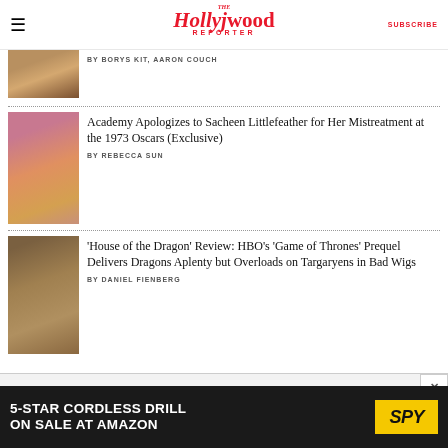The Hollywood Reporter | SUBSCRIBE
[Figure (photo): Partial article image at top - person with jewelry]
BY BORYS KIT, AARON COUCH
[Figure (photo): Sacheen Littlefeather standing next to Oscar statuette in front of pink backdrop]
Academy Apologizes to Sacheen Littlefeather for Her Mistreatment at the 1973 Oscars (Exclusive)
BY REBECCA SUN
[Figure (photo): Scene from House of the Dragon - character with white hair]
'House of the Dragon' Review: HBO's 'Game of Thrones' Prequel Delivers Dragons Aplenty but Overloads on Targaryens in Bad Wigs
BY DANIEL FIENBERG
[Figure (infographic): Advertisement banner: 5-STAR CORDLESS DRILL ON SALE AT AMAZON - SPY logo]